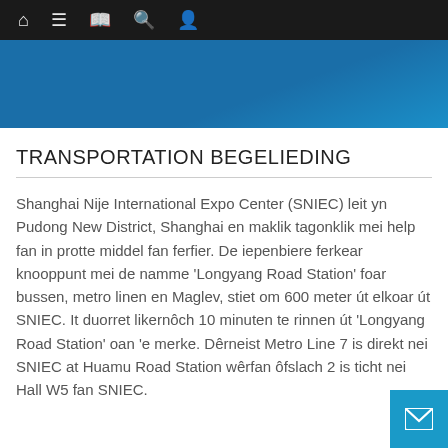Navigation bar with home, menu, book, search, and profile icons
[Figure (other): Blue decorative banner/header area]
TRANSPORTATION BEGELIEDING
Shanghai Nije International Expo Center (SNIEC) leit yn Pudong New District, Shanghai en maklik tagonklik mei help fan in protte middel fan ferfier. De iepenbiere ferkear knooppunt mei de namme 'Longyang Road Station' foar bussen, metro linen en Maglev, stiet om 600 meter út elkoar út SNIEC. It duorret likernôch 10 minuten te rinnen út 'Longyang Road Station' oan 'e merke. Dêrneist Metro Line 7 is direkt nei SNIEC at Huamu Road Station wêrfan ôfslach 2 is ticht nei Hall W5 fan SNIEC.